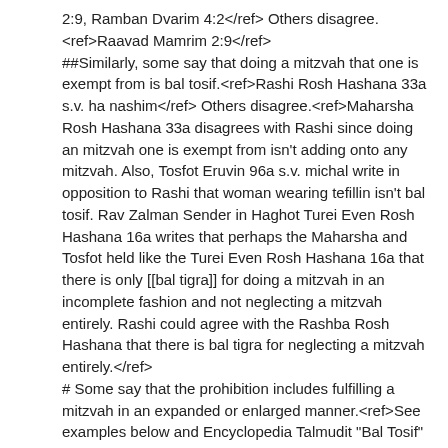2:9, Ramban Dvarim 4:2</ref> Others disagree.<ref>Raavad Mamrim 2:9</ref>
##Similarly, some say that doing a mitzvah that one is exempt from is bal tosif.<ref>Rashi Rosh Hashana 33a s.v. ha nashim</ref> Others disagree.<ref>Maharsha Rosh Hashana 33a disagrees with Rashi since doing an mitzvah one is exempt from isn't adding onto any mitzvah. Also, Tosfot Eruvin 96a s.v. michal write in opposition to Rashi that woman wearing tefillin isn't bal tosif. Rav Zalman Sender in Haghot Turei Even Rosh Hashana 16a writes that perhaps the Maharsha and Tosfot held like the Turei Even Rosh Hashana 16a that there is only [[bal tigra]] for doing a mitzvah in an incomplete fashion and not neglecting a mitzvah entirely. Rashi could agree with the Rashba Rosh Hashana that there is bal tigra for neglecting a mitzvah entirely.</ref>
# Some say that the prohibition includes fulfilling a mitzvah in an expanded or enlarged manner.<ref>See examples below and Encyclopedia Talmudit "Bal Tosif"</ref>
## Saying Kedusha multiple times a day isn't Baal Tosif.<ref>Rashba Teshuva 1:249, Rama O.C. 125:2</ref>